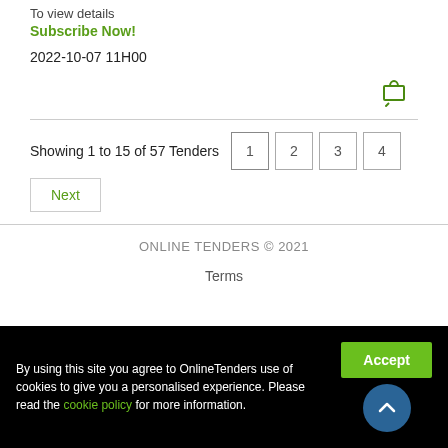To view details
Subscribe Now!
2022-10-07 11H00
Showing 1 to 15 of 57 Tenders
Next
ONLINE TENDERS © 2021
Terms
By using this site you agree to OnlineTenders use of cookies to give you a personalised experience. Please read the cookie policy for more information.
Accept